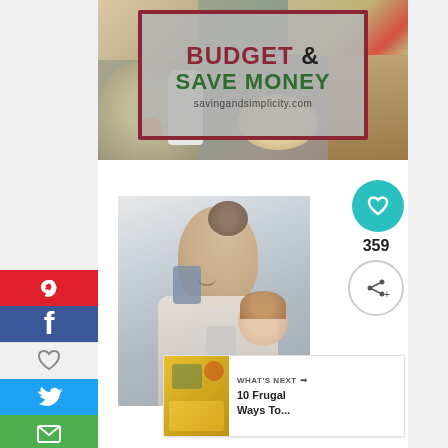[Figure (illustration): Blog banner image for 'Budget & Save Money' from savingandsimplicity.com, with food photos (bowl of food, milk jug, flower, eggs, muffins) surrounding a grey overlay box with dark red and green bold text.]
[Figure (photo): Photo of a young woman with her hair up, smiling and playing with a small child, holding grey cups.]
359
WHAT'S NEXT → 10 Frugal Ways To...